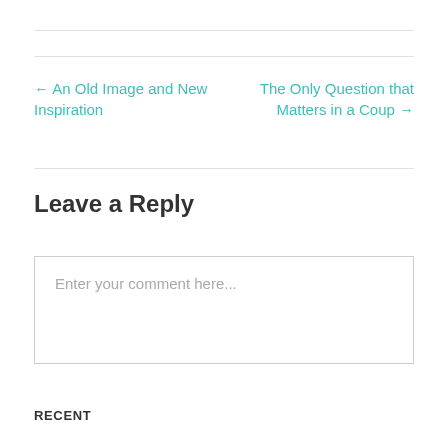← An Old Image and New Inspiration
The Only Question that Matters in a Coup →
Leave a Reply
Enter your comment here...
RECENT